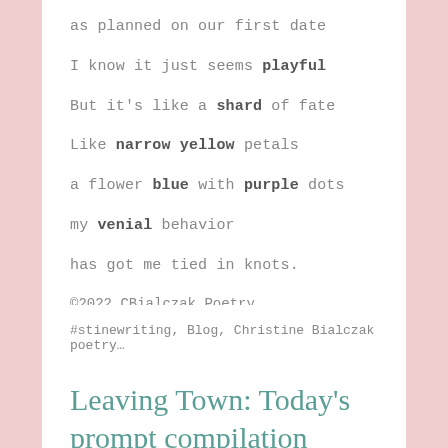I shall forgo my presence
as planned on our first date
I know it just seems playful
But it's like a shard of fate
Like narrow yellow petals
a flower blue with purple dots
my venial behavior
has got me tied in knots.
©2022 CBialczak Poetry
#stinewriting, Blog, Christine Bialczak poetry…
Leaving Town: Today's prompt compilation